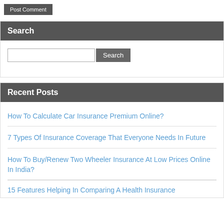Post Comment
Search
Search
Recent Posts
How To Calculate Car Insurance Premium Online?
7 Types Of Insurance Coverage That Everyone Needs In Future
How To Buy/Renew Two Wheeler Insurance At Low Prices Online In India?
15 Features Helping In Comparing A Health Insurance